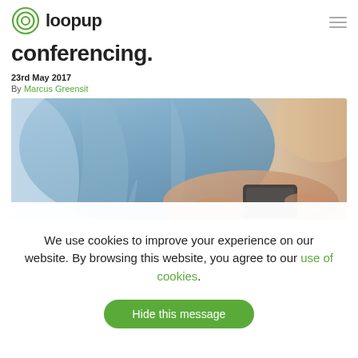loopup (logo)
conferencing (partial, cropped)
23rd May 2017
By Marcus Greensit
[Figure (photo): Person in blue shirt using a smartphone, blurred background, close-up shot]
We use cookies to improve your experience on our website. By browsing this website, you agree to our use of cookies.
Hide this message